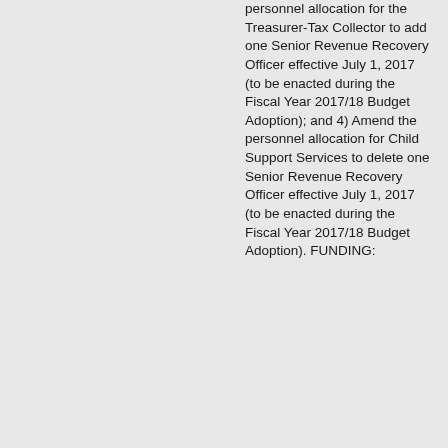personnel allocation for the Treasurer-Tax Collector to add one Senior Revenue Recovery Officer effective July 1, 2017 (to be enacted during the Fiscal Year 2017/18 Budget Adoption); and 4) Amend the personnel allocation for Child Support Services to delete one Senior Revenue Recovery Officer effective July 1, 2017 (to be enacted during the Fiscal Year 2017/18 Budget Adoption). FUNDING: